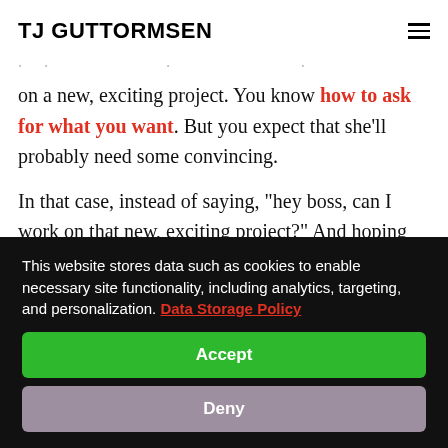TJ GUTTORMSEN
on a new, exciting project. You know how to ask for what you want. But you expect that she’ll probably need some convincing.
In that case, instead of saying, “hey boss, can I work on that new, exciting project?” And hoping you’ll be able to convince her if she says no, you can be proactive.
This website stores data such as cookies to enable necessary site functionality, including analytics, targeting, and personalization. Data Storage Policy
Accept
Deny